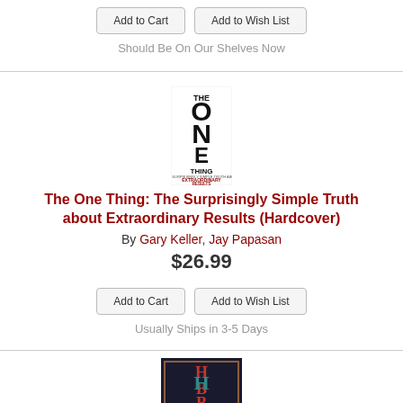Add to Cart   Add to Wish List
Should Be On Our Shelves Now
[Figure (photo): Book cover of 'The ONE Thing' by Gary Keller and Jay Papasan, showing large letters spelling ONE vertically with 'THE' above and 'THING' below in black typography]
The One Thing: The Surprisingly Simple Truth about Extraordinary Results (Hardcover)
By Gary Keller, Jay Papasan
$26.99
Add to Cart   Add to Wish List
Usually Ships in 3-5 Days
[Figure (logo): Partial book cover showing red/teal decorative logo at bottom of page]